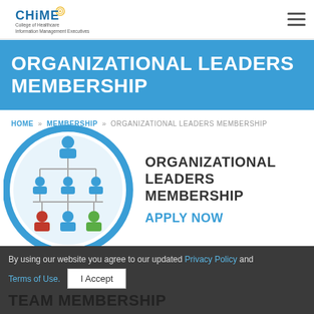CHiME College of Healthcare Information Management Executives
ORGANIZATIONAL LEADERS MEMBERSHIP
HOME » MEMBERSHIP » ORGANIZATIONAL LEADERS MEMBERSHIP
[Figure (illustration): Circular icon with an org chart showing blue figures in a hierarchy with colored figures (red, blue, green) at the bottom level]
ORGANIZATIONAL LEADERS MEMBERSHIP APPLY NOW
By using our website you agree to our updated Privacy Policy and Terms of Use.
TEAM MEMBERSHIP